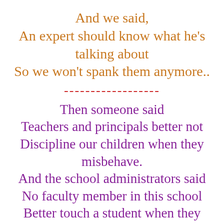And we said,
An expert should know what he's talking about
So we won't spank them anymore..
------------------
Then someone said
Teachers and principals better not
Discipline our children when they misbehave.
And the school administrators said
No faculty member in this school
Better touch a student when they misbehave
Because we don't want any bad